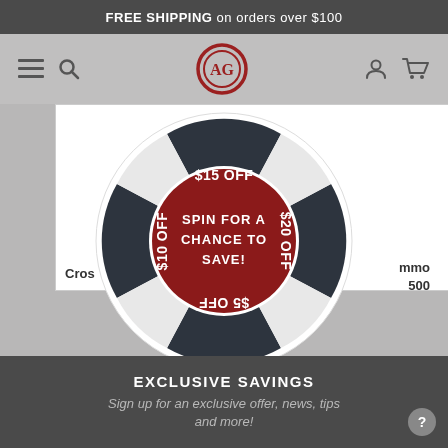FREE SHIPPING on orders over $100
[Figure (logo): AG logo mark (red circle with AG initials) and navigation icons]
[Figure (infographic): Spin wheel with segments: $15 OFF (top), $20 OFF (right), $5 OFF (bottom, upside down), $10 OFF (left), and dark red center reading SPIN FOR A CHANCE TO SAVE!]
Cros...
mmo 500
EXCLUSIVE SAVINGS
Sign up for an exclusive offer, news, tips and more!